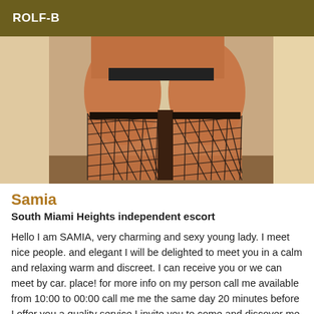ROLF-B
[Figure (photo): Photo showing the lower body of a person wearing fishnet stockings, viewed from behind.]
Samia
South Miami Heights independent escort
Hello I am SAMIA, very charming and sexy young lady. I meet nice people. and elegant I will be delighted to meet you in a calm and relaxing warm and discreet. I can receive you or we can meet by car. place! for more info on my person call me available from 10:00 to 00:00 call me me the same day 20 minutes before I offer you a quality service I invite you to come and discover me. Do